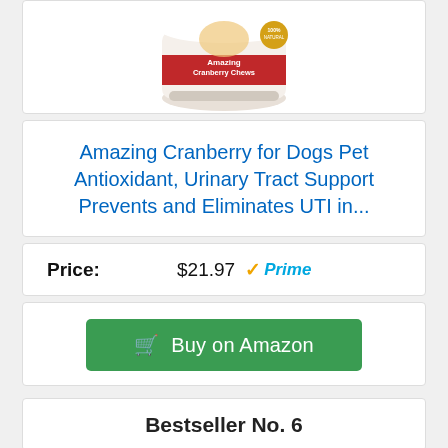[Figure (photo): Product photo of Amazing Cranberry Chews supplement in a white container with red/gold label showing a golden retriever dog]
Amazing Cranberry for Dogs Pet Antioxidant, Urinary Tract Support Prevents and Eliminates UTI in...
Price: $21.97 ✓Prime
Buy on Amazon
Bestseller No. 6
[Figure (photo): Product photo of Mighty Petz MAX dog treats in a red bag with black and white dog imagery]